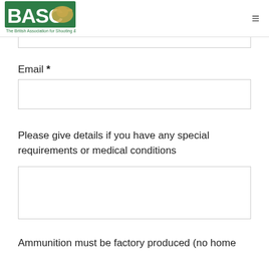[Figure (logo): BASC logo - The British Association for Shooting & Conservation, green background with duck silhouette]
Email *
Please give details if you have any special requirements or medical conditions
Ammunition must be factory produced (no home